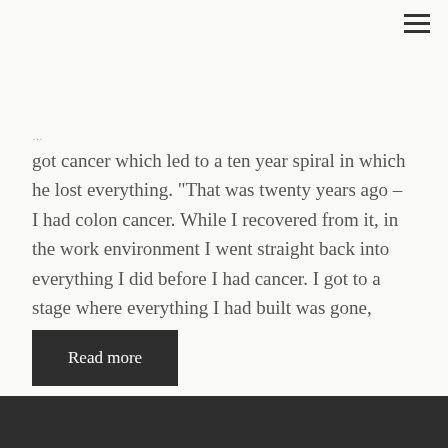got cancer which led to a ten year spiral in which he lost everything. “That was twenty years ago – I had colon cancer. While I recovered from it, in the work environment I went straight back into everything I did before I had cancer. I got to a stage where everything I had built was gone, everything."
Read more